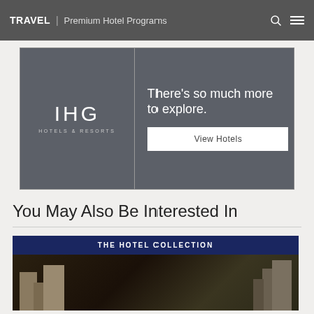TRAVEL | Premium Hotel Programs
[Figure (infographic): IHG Hotels & Resorts advertisement banner with logo on left and 'There's so much more to explore.' tagline with 'View Hotels' button on right]
You May Also Be Interested In
[Figure (infographic): THE HOTEL COLLECTION card with dark navy header and hotel building photo below]